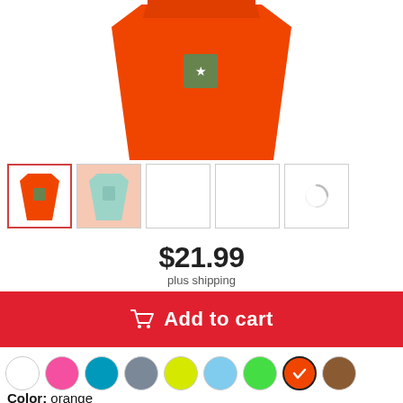[Figure (photo): Orange t-shirt product image (cropped top portion showing front of shirt)]
[Figure (photo): Row of product thumbnail images: orange t-shirt (active/selected), peach t-shirt with teal design, three empty/loading thumbnails]
$21.99
plus shipping
Add to cart
[Figure (other): Color swatch selector row: white, pink, teal, slate/gray, yellow-green, light blue, green, orange (selected with checkmark), brown]
Color: orange